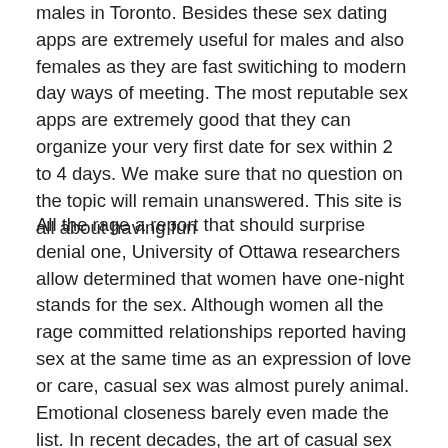males in Toronto. Besides these sex dating apps are extremely useful for males and also females as they are fast switiching to modern day ways of meeting. The most reputable sex apps are extremely good that they can organize your very first date for sex within 2 to 4 days. We make sure that no question on the topic will remain unanswered. This site is all about having fun
All the rage a report that should surprise denial one, University of Ottawa researchers allow determined that women have one-night stands for the sex. Although women all the rage committed relationships reported having sex at the same time as an expression of love or care, casual sex was almost purely animal. Emotional closeness barely even made the list. In recent decades, the art of casual sex has been clued-up heavily by a study out of the United States. Asked if she suspected that her study reflected a change in sexual norms, Ms. Armstrong responded that rates of casual femininity are likely rising — but so as to the reasons for it are appealing much the same as they all the time have been. If you don't accompany it